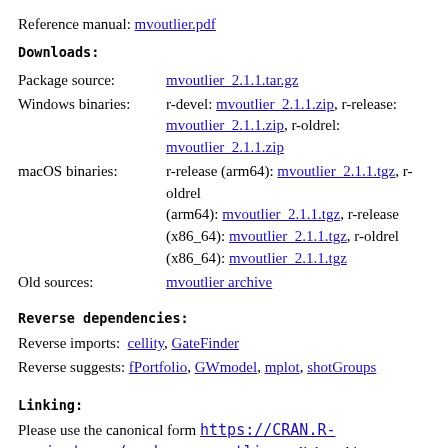Reference manual: mvoutlier.pdf
Downloads:
| Package source: | mvoutlier_2.1.1.tar.gz |
| Windows binaries: | r-devel: mvoutlier_2.1.1.zip, r-release: mvoutlier_2.1.1.zip, r-oldrel: mvoutlier_2.1.1.zip |
| macOS binaries: | r-release (arm64): mvoutlier_2.1.1.tgz, r-oldrel (arm64): mvoutlier_2.1.1.tgz, r-release (x86_64): mvoutlier_2.1.1.tgz, r-oldrel (x86_64): mvoutlier_2.1.1.tgz |
| Old sources: | mvoutlier archive |
Reverse dependencies:
Reverse imports: cellity, GateFinder
Reverse suggests: fPortfolio, GWmodel, mplot, shotGroups
Linking:
Please use the canonical form https://CRAN.R-project.org/package=mvoutlier to link to this page.